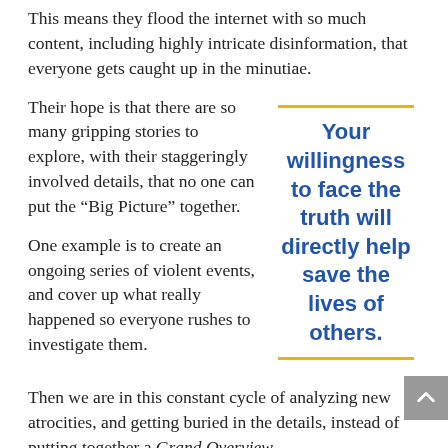This means they flood the internet with so much content, including highly intricate disinformation, that everyone gets caught up in the minutiae.
Their hope is that there are so many gripping stories to explore, with their staggeringly involved details, that no one can put the “Big Picture” together.
Your willingness to face the truth will directly help save the lives of others.
One example is to create an ongoing series of violent events, and cover up what really happened so everyone rushes to investigate them.
Then we are in this constant cycle of analyzing new atrocities, and getting buried in the details, instead of putting together a Grand Overview.
Update: Your willingness to face the truth, and accept that the Universe is still a loving and positive place, will directly